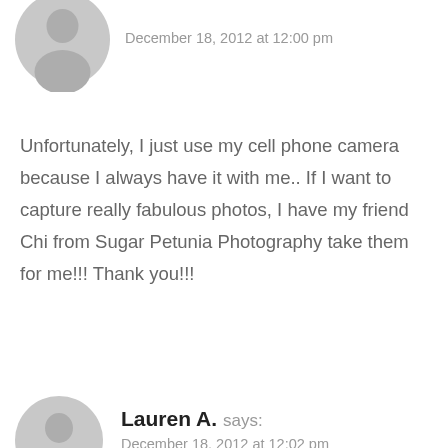[Figure (illustration): Grey placeholder avatar icon of a person (top, cropped, showing partial silhouette)]
December 18, 2012 at 12:00 pm
Unfortunately, I just use my cell phone camera because I always have it with me.. If I want to capture really fabulous photos, I have my friend Chi from Sugar Petunia Photography take them for me!!! Thank you!!!
Reply
[Figure (illustration): Grey placeholder avatar icon of a person (Lauren A.)]
Lauren A. says:
December 18, 2012 at 12:02 pm